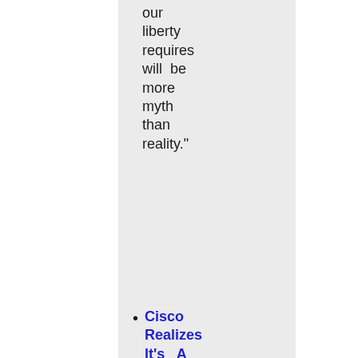our liberty requires will be more myth than reality."
Cisco Realizes It's A Waste Of Time To Focus On Patent Quantity – "johnjac points us to
– "johnjac points us to